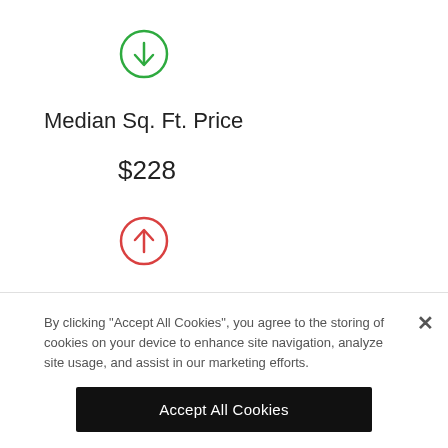[Figure (other): Green circle with a downward arrow icon]
Median Sq. Ft. Price
$228
[Figure (other): Red/orange circle with an upward arrow icon]
By clicking “Accept All Cookies”, you agree to the storing of cookies on your device to enhance site navigation, analyze site usage, and assist in our marketing efforts.
Accept All Cookies